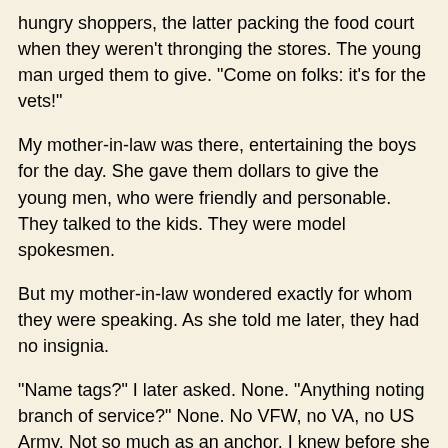hungry shoppers, the latter packing the food court when they weren't thronging the stores. The young man urged them to give. "Come on folks: it's for the vets!"
My mother-in-law was there, entertaining the boys for the day. She gave them dollars to give the young men, who were friendly and personable. They talked to the kids. They were model spokesmen.
But my mother-in-law wondered exactly for whom they were speaking. As she told me later, they had no insignia.
"Name tags?" I later asked. None. "Anything noting branch of service?" None. No VFW, no VA, no US Army. Not so much as an anchor. I knew before she told me. I let her continue on.
She didn't say anything, or ask anything, because she didn't want to give the boys the wrong idea. She assured me at least three times of her commitment to the troops. She didn't need to. She's married to a veteran. Takes the boys to the war parades every year. Dresses in red, white, and blue